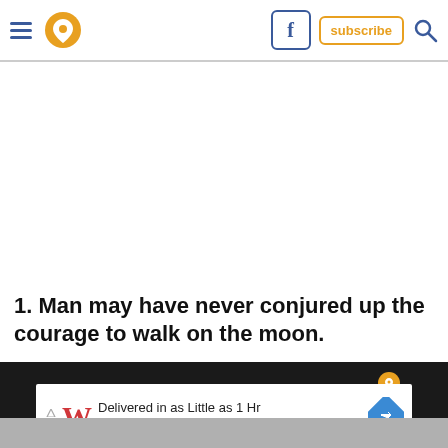Navigation header with hamburger menu, location pin icon, Facebook button, subscribe button, and search icon
1. Man may have never conjured up the courage to walk on the moon.
[Figure (screenshot): Dark/black section at bottom of page with a small orange location pin icon visible, partially showing a photo below]
[Figure (screenshot): Walgreens Photo advertisement: 'Delivered in as Little as 1 Hr / Walgreens Photo' with Walgreens logo and blue arrow diamond icon]